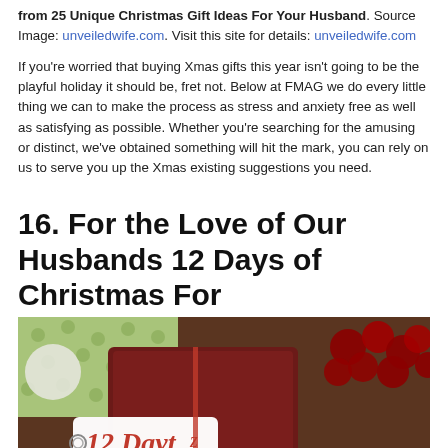from 25 Unique Christmas Gift Ideas For Your Husband. Source Image: unveiledwife.com. Visit this site for details: unveiledwife.com
If you're worried that buying Xmas gifts this year isn't going to be the playful holiday it should be, fret not. Below at FMAG we do every little thing we can to make the process as stress and anxiety free as well as satisfying as possible. Whether you're searching for the amusing or distinct, we've obtained something will hit the mark, you can rely on us to serve you up the Xmas existing suggestions you need.
16. For the Love of Our Husbands 12 Days of Christmas For
[Figure (photo): Photo of a Christmas-themed booklet or card with '12 Dayz' text, surrounded by red berries and a green polka dot fabric/gift wrap, with a dark red/maroon background.]